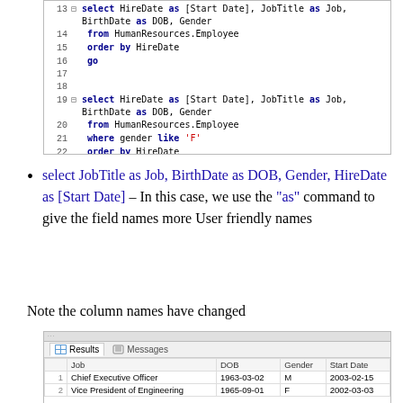[Figure (screenshot): SQL code editor screenshot showing two SELECT queries with line numbers 13-23. Query 1 (lines 13-16): select HireDate as [Start Date], JobTitle as Job, BirthDate as DOB, Gender from HumanResources.Employee order by HireDate go. Query 2 (lines 19-23): select HireDate as [Start Date], JobTitle as Job, BirthDate as DOB, Gender from HumanResources.Employee where gender like 'F' order by HireDate go.]
select JobTitle as Job, BirthDate as DOB, Gender, HireDate as [Start Date] – In this case, we use the "as" command to give the field names more User friendly names
Note the column names have changed
[Figure (screenshot): SQL Server Management Studio results pane showing Results and Messages tabs. Table with columns: Job, DOB, Gender, Start Date. Row 1: Chief Executive Officer, 1963-03-02, M, 2003-02-15. Row 2: Vice President of Engineering, 1965-09-01, F, 2002-03-03.]